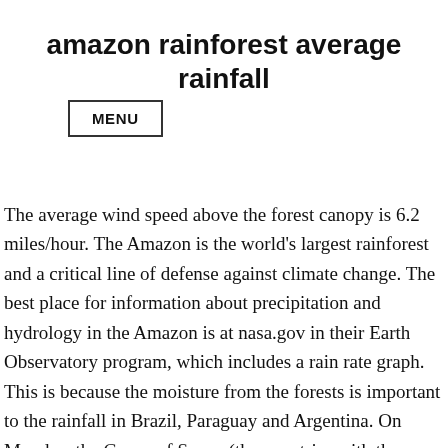amazon rainforest average rainfall
MENU
The average wind speed above the forest canopy is 6.2 miles/hour. The Amazon is the world's largest rainforest and a critical line of defense against climate change. The best place for information about precipitation and hydrology in the Amazon is at nasa.gov in their Earth Observatory program, which includes a rain rate graph. This is because the moisture from the forests is important to the rainfall in Brazil, Paraguay and Argentina. On Monday, the Group of Seven (the countries with the seven largest economies) offered millions of dollars to the Brazilian government to help put out these fires and